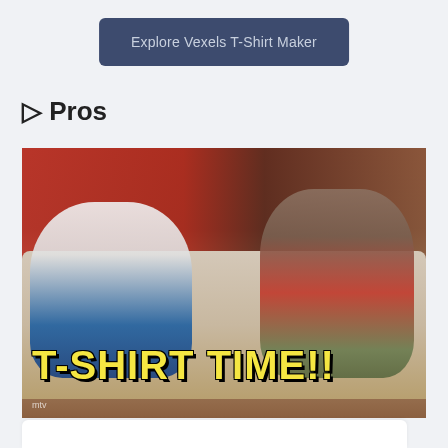Explore Vexels T-Shirt Maker
🡆 Pros
[Figure (photo): GIF from GIPHY showing two people lounging on a couch with the text 'T-SHIRT TIME!!' in large yellow block letters overlaid at the bottom, in the style of MTV's Jersey Shore.]
Source: GIPHY